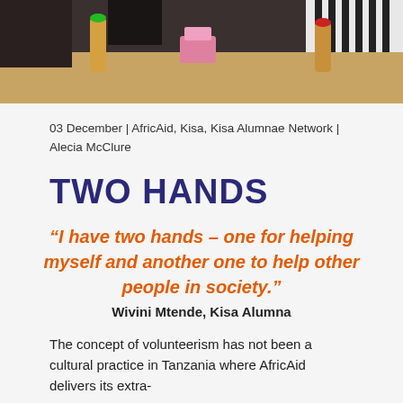[Figure (photo): Photograph showing a table with bottles and items, people partially visible in background with striped clothing]
03 December | AfricAid, Kisa, Kisa Alumnae Network | Alecia McClure
TWO HANDS
“I have two hands – one for helping myself and another one to help other people in society.”
Wivini Mtende, Kisa Alumna
The concept of volunteerism has not been a cultural practice in Tanzania where AfricAid delivers its extra-